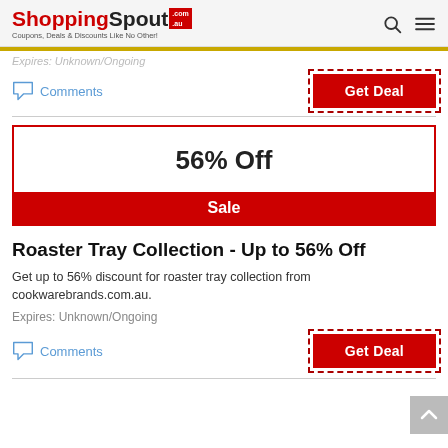ShoppingSpout.com.au — Coupons, Deals & Discounts Like No Other!
Expires: Unknown/Ongoing
Comments
Get Deal
[Figure (infographic): Deal card showing 56% Off discount badge with red Sale banner]
Roaster Tray Collection - Up to 56% Off
Get up to 56% discount for roaster tray collection from cookwarebrands.com.au.
Expires: Unknown/Ongoing
Comments
Get Deal